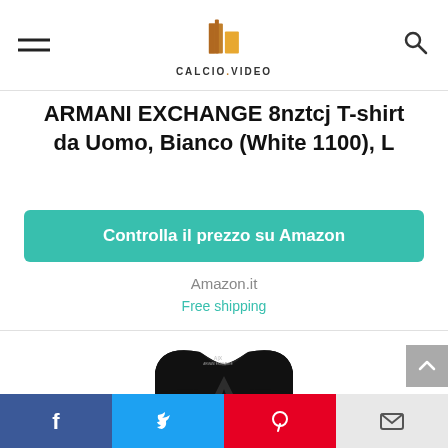CALCIO.VIDEO
ARMANI EXCHANGE 8nztcj T-shirt da Uomo, Bianco (White 1100), L
Controlla il prezzo su Amazon
Amazon.it
Free shipping
[Figure (photo): Black Armani Exchange t-shirt with large A logo and ARMANI EXCHANGE text on the front]
Facebook | Twitter | Pinterest | Email